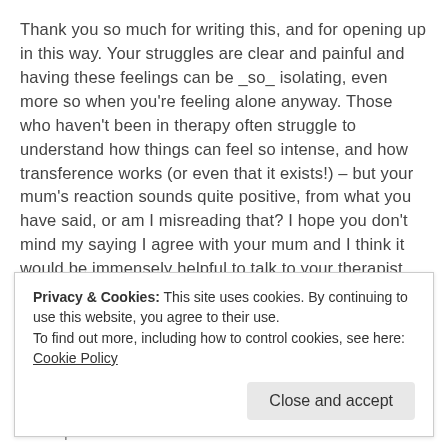Thank you so much for writing this, and for opening up in this way. Your struggles are clear and painful and having these feelings can be _so_ isolating, even more so when you're feeling alone anyway. Those who haven't been in therapy often struggle to understand how things can feel so intense, and how transference works (or even that it exists!) – but your mum's reaction sounds quite positive, from what you have said, or am I misreading that? I hope you don't mind my saying I agree with your mum and I think it would be immensely helpful to talk to your therapist about this. From the background you have given, it seems like it could be one of the absolutely core parts of your therapy, and given your dad's passing, it is absolutely to be expected that you would
Privacy & Cookies: This site uses cookies. By continuing to use this website, you agree to their use.
To find out more, including how to control cookies, see here: Cookie Policy
relationship. How long have you been with him? Therapists